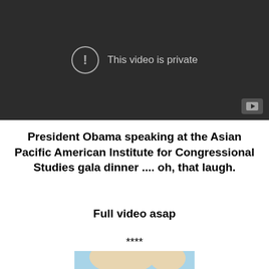[Figure (screenshot): YouTube video player showing 'This video is private' message on a dark background, with a YouTube play button icon in the bottom right corner.]
President Obama speaking at the Asian Pacific American Institute for Congressional Studies gala dinner .... oh, that laugh.
Full video asap
****
[Figure (illustration): Partial illustration/cartoon visible at bottom of page, showing a figure with light skin tones and blue background.]